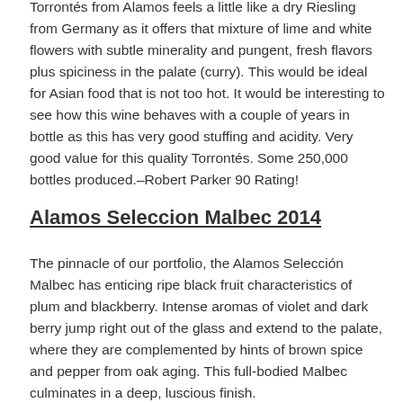Torrontés from Alamos feels a little like a dry Riesling from Germany as it offers that mixture of lime and white flowers with subtle minerality and pungent, fresh flavors plus spiciness in the palate (curry). This would be ideal for Asian food that is not too hot. It would be interesting to see how this wine behaves with a couple of years in bottle as this has very good stuffing and acidity. Very good value for this quality Torrontés. Some 250,000 bottles produced.–Robert Parker 90 Rating!
Alamos Seleccion Malbec 2014
The pinnacle of our portfolio, the Alamos Selección Malbec has enticing ripe black fruit characteristics of plum and blackberry. Intense aromas of violet and dark berry jump right out of the glass and extend to the palate, where they are complemented by hints of brown spice and pepper from oak aging. This full-bodied Malbec culminates in a deep, luscious finish.